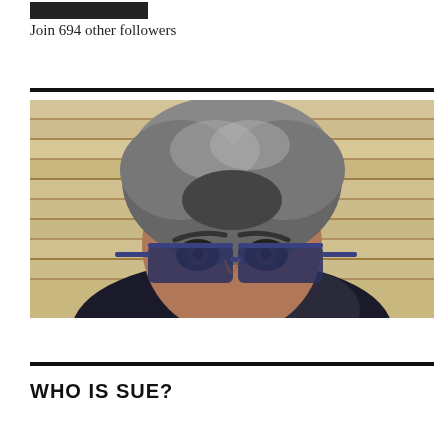Join 694 other followers
[Figure (photo): Close-up photo of a person with short gray hair peeking over sunglasses, against a wooden siding background]
WHO IS SUE?